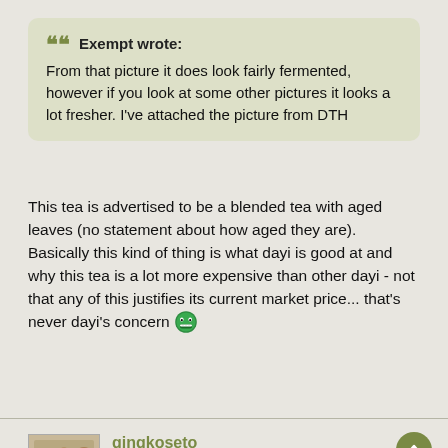Exempt wrote: From that picture it does look fairly fermented, however if you look at some other pictures it looks a lot fresher. I've attached the picture from DTH
This tea is advertised to be a blended tea with aged leaves (no statement about how aged they are). Basically this kind of thing is what dayi is good at and why this tea is a lot more expensive than other dayi - not that any of this justifies its current market price... that's never dayi's concern 😄
Post Reply
gingkoseto
Mar 19th, '13, 21:33
Re: 2011 Gold Dayi Raw Puerh vs.